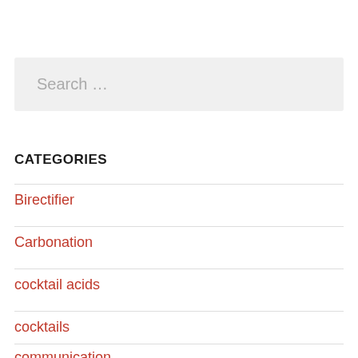Search …
CATEGORIES
Birectifier
Carbonation
cocktail acids
cocktails
communication